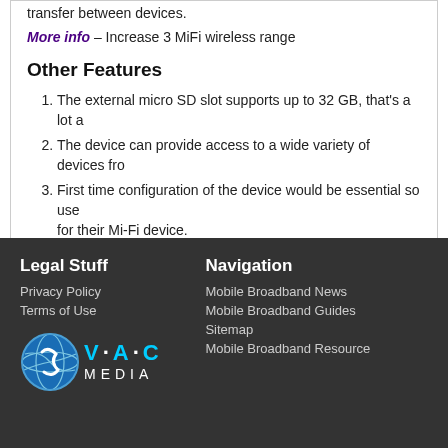transfer between devices.
More info – Increase 3 MiFi wireless range
Other Features
The external micro SD slot supports up to 32 GB, that's a lot a…
The device can provide access to a wide variety of devices fro…
First time configuration of the device would be essential so use… for their Mi-Fi device.
Improved speed ranges would allow us to get the maximum us…
Legal Stuff | Navigation | Privacy Policy | Terms of Use | Mobile Broadband News | Mobile Broadband Guides | Sitemap | Mobile Broadband Resource